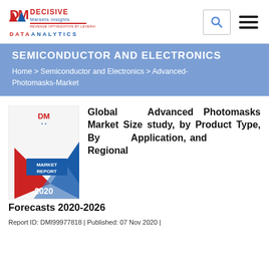Decisive Markets Insights — REVENUE OPTIMIZATION BY LEVERAGING DATA ANALYTICS
SEMICONDUCTOR AND ELECTRONICS
Home > Semiconductor and Electronics > Advanced-Photomasks-Market
[Figure (logo): DMI Market Report 2020 cover image with red and blue geometric shapes]
Global Advanced Photomasks Market Size study, by Product Type, By Application, and Regional Forecasts 2020-2026
Report ID: DMI99977818 | Published: 07 Nov 2020 |